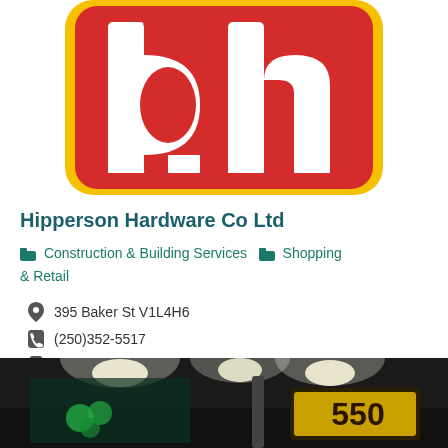[Figure (logo): Home Hardware 'dh' logo — red background with white stylized 'dh' letters, yellow border, rounded rectangle shape]
Hipperson Hardware Co Ltd
Construction & Building Services  Shopping & Retail
395 Baker St V1L4H6
(250)352-5517
(250)352-0120
http://www.homehardware.ca
[Figure (photo): Storefront photo showing entrance with lights and a sign displaying '550']